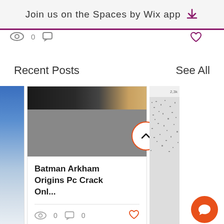Join us on the Spaces by Wix app
Recent Posts
See All
[Figure (screenshot): A partially visible card on the left showing a blue device, a center card showing Batman Arkham Origins post with a gray placeholder image and title 'Batman Arkham Origins Pc Crack Onl...' and 0 views/comments, and a partially visible right card with noise pattern.]
Batman Arkham Origins Pc Crack Onl...
0
0